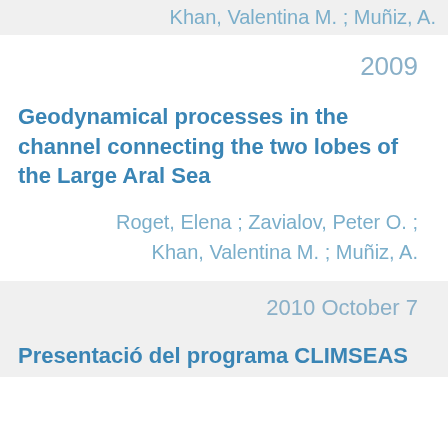Khan, Valentina M. ; Muñiz, A.
2009
Geodynamical processes in the channel connecting the two lobes of the Large Aral Sea
Roget, Elena ; Zavialov, Peter O. ; Khan, Valentina M. ; Muñiz, A.
2010 October 7
Presentació del programa CLIMSEAS